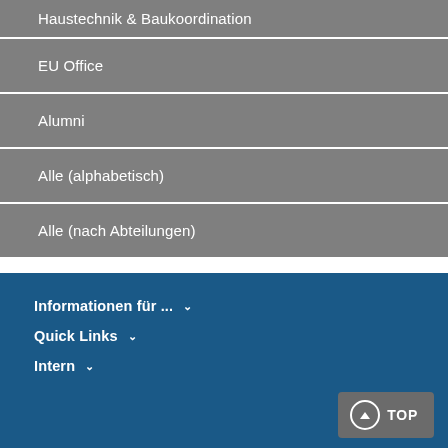Haustechnik & Baukoordination
EU Office
Alumni
Alle (alphabetisch)
Alle (nach Abteilungen)
Informationen für ... ∨
Quick Links ∨
Intern ∨
TOP